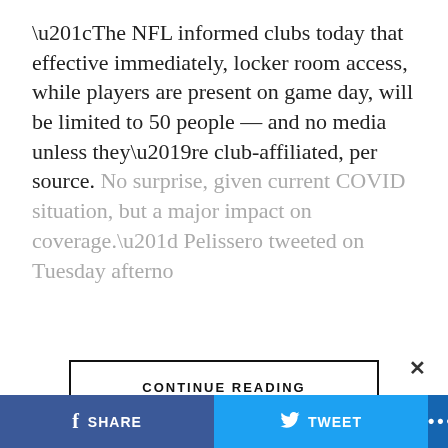“The NFL informed clubs today that effective immediately, locker room access, while players are present on game day, will be limited to 50 people — and no media unless they’re club-affiliated, per source. No surprise, given current COVID situation, but a major impact on coverage.” Pelissero tweeted on Tuesday afternoon.
CONTINUE READING
ADVERTISEMENT
×
f SHARE
TWEET
...